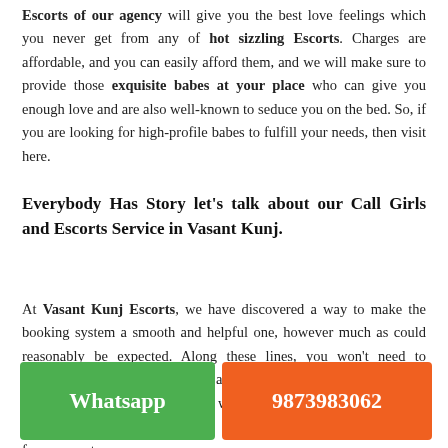Escorts of our agency will give you the best love feelings which you never get from any of hot sizzling Escorts. Charges are affordable, and you can easily afford them, and we will make sure to provide those exquisite babes at your place who can give you enough love and are also well-known to seduce you on the bed. So, if you are looking for high-profile babes to fulfill your needs, then visit here.
Everybody Has Story let's talk about our Call Girls and Escorts Service in Vasant Kunj.
At Vasant Kunj Escorts, we have discovered a way to make the booking system a smooth and helpful one, however much as could reasonably be expected. Along these lines, you won't need to experience any issues when you are getting an Indian Dubai escort from our administration. The way toward booking call young Female... Kunj... few moments.